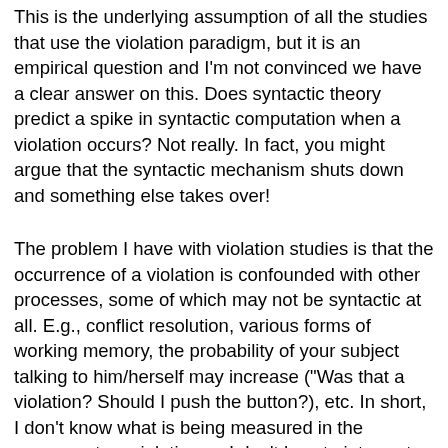This is the underlying assumption of all the studies that use the violation paradigm, but it is an empirical question and I'm not convinced we have a clear answer on this.  Does syntactic theory predict a spike in syntactic computation when a violation occurs?  Not really.  In fact, you might argue that the syntactic mechanism shuts down and something else takes over!
The problem I have with violation studies is that the occurrence of a violation is confounded with other processes, some of which may not be syntactic at all.  E.g., conflict resolution, various forms of working memory, the probability of your subject talking to him/herself may increase ("Was that a violation?  Should I push the button?), etc.  In short, I don't know what is being measured in the response to a violation so I don't how to interpret a neurophysiological response triggered by such a violation.  If you want to map the neural system involved in violation processing, then fine, study violations.  But this that really what we're after here?  Or are we trying to understanding the circuits involved in syntactic computations as they are normally carried out in